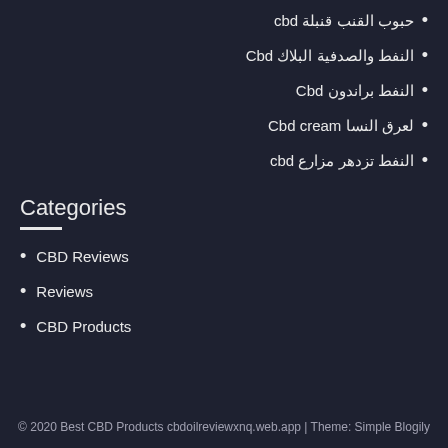حبوب القنب قنبلة cbd
النفط والصدفية البلاك Cbd
النفط براندون Cbd
لعرق النسا Cbd cream
النفط تزدهر مزارع cbd
Categories
CBD Reviews
Reviews
CBD Products
© 2020 Best CBD Products cbdoilreviewxnq.web.app | Theme: Simple Blogily